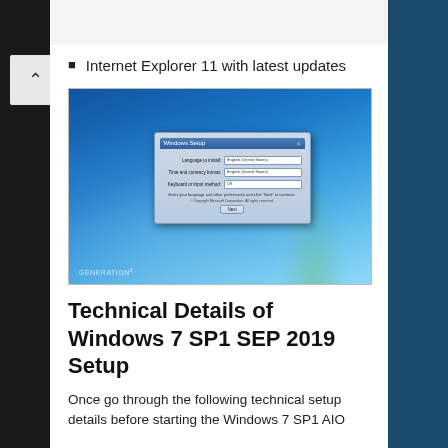Internet Explorer 11 with latest updates
[Figure (screenshot): Windows 7 setup screen showing the Windows Setup dialog with language, time/currency format, and keyboard input method dropdowns. Windows 7 logo with colorful flag icon is visible. Bottom-left shows GENERATION2 watermark.]
Technical Details of Windows 7 SP1 SEP 2019 Setup
Once go through the following technical setup details before starting the Windows 7 SP1 AIO